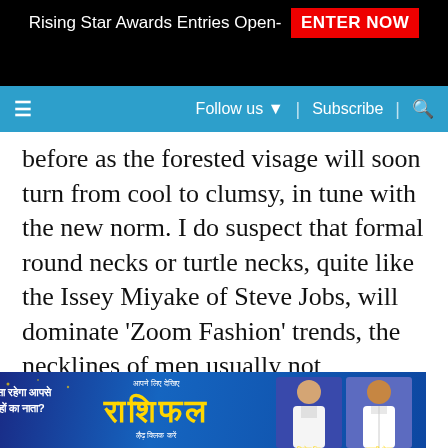Rising Star Awards Entries Open- ENTER NOW
Follow us ▼  |  Subscribe  |  🔍
before as the forested visage will soon turn from cool to clumsy, in tune with the new norm. I do suspect that formal round necks or turtle necks, quite like the Issey Miyake of Steve Jobs, will dominate 'Zoom Fashion' trends, the necklines of men usually not photogenic. While for women, the possibilities are truthfully endless, a two-way mirror responding to every fashion ambition, marinated by corporate dreams. I do pity the perfu…
[Figure (advertisement): Indian astrology show advertisement 'Rashifal' with two male TV presenters and Hindi text 'कैसा रहेगा आपसे ग्रहों का नाता?']